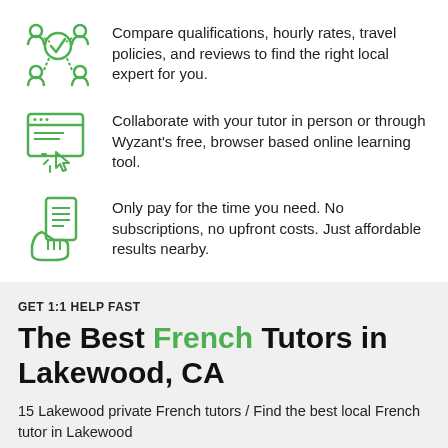[Figure (infographic): Green icon of people/network with checkmark circle]
Compare qualifications, hourly rates, travel policies, and reviews to find the right local expert for you.
[Figure (infographic): Green icon of browser window with cursor/click]
Collaborate with your tutor in person or through Wyzant's free, browser based online learning tool.
[Figure (infographic): Green icon of hand holding receipt/payment]
Only pay for the time you need. No subscriptions, no upfront costs. Just affordable results nearby.
GET 1:1 HELP FAST
The Best French Tutors in Lakewood, CA
15 Lakewood private French tutors / Find the best local French tutor in Lakewood